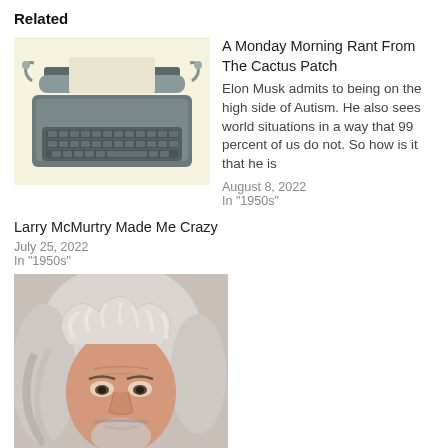Related
[Figure (photo): Vintage gray typewriter on a light yellow background]
A Monday Morning Rant From The Cactus Patch
Elon Musk admits to being on the high side of Autism. He also sees world situations in a way that 99 percent of us do not. So how is it that he is
August 8, 2022
In "1950s"
Larry McMurtry Made Me Crazy
July 25, 2022
In "1950s"
[Figure (photo): Mugshot-style photo of an older man with long gray-white wavy hair and a beard, wearing a dark shirt]